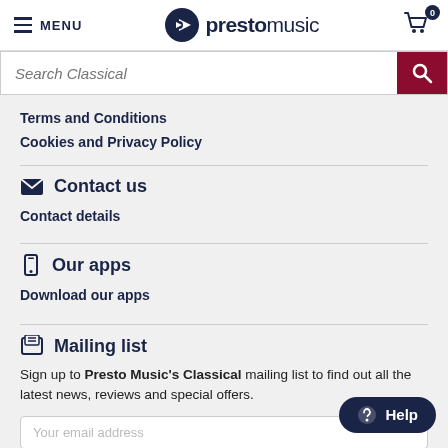MENU | prestomusic | Cart 0
Search Classical
Terms and Conditions
Cookies and Privacy Policy
Contact us
Contact details
Our apps
Download our apps
Mailing list
Sign up to Presto Music's Classical mailing list to find out all the latest news, reviews and special offers.
Help
Your email address